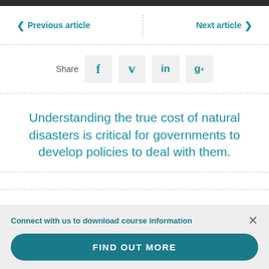◁ Previous article   |   Next article ▷
Share
Understanding the true cost of natural disasters is critical for governments to develop policies to deal with them.
Connect with us to download course information
FIND OUT MORE